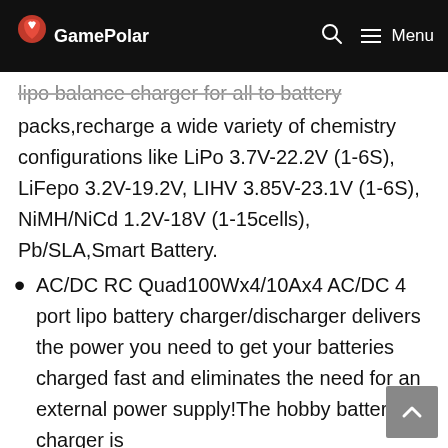GamePolar — Menu
lipo balance charger for all to battery packs,recharge a wide variety of chemistry configurations like LiPo 3.7V-22.2V (1-6S), LiFepo 3.2V-19.2V, LIHV 3.85V-23.1V (1-6S), NiMH/NiCd 1.2V-18V (1-15cells), Pb/SLA,Smart Battery.
AC/DC RC Quad100Wx4/10Ax4 AC/DC 4 port lipo battery charger/discharger delivers the power you need to get your batteries charged fast and eliminates the need for an external power supply!The hobby battery charger is